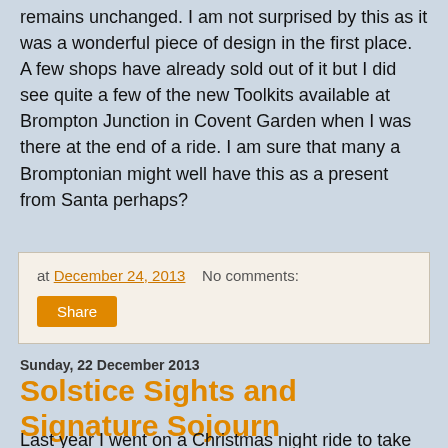The new Brompton Toolkit, apart from the new tyre levers remains unchanged. I am not surprised by this as it was a wonderful piece of design in the first place. A few shops have already sold out of it but I did see quite a few of the new Toolkits available at Brompton Junction in Covent Garden when I was there at the end of a ride. I am sure that many a Bromptonian might well have this as a present from Santa perhaps?
at December 24, 2013   No comments:
Share
Sunday, 22 December 2013
Solstice Sights and Signature Sojourn
Last year I went on a Christmas night ride to take in all the